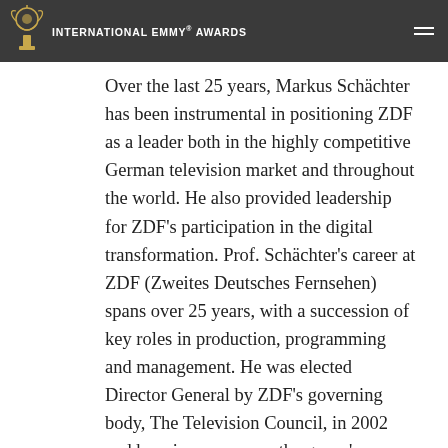INTERNATIONAL EMMY® AWARDS
Over the last 25 years, Markus Schächter has been instrumental in positioning ZDF as a leader both in the highly competitive German television market and throughout the world. He also provided leadership for ZDF's participation in the digital transformation. Prof. Schächter's career at ZDF (Zweites Deutsches Fernsehen) spans over 25 years, with a succession of key roles in production, programming and management. He was elected Director General by ZDF's governing body, The Television Council, in 2002 and has since overseen the group's operations which include the main channel and three special interest channels in its digital bouquet, as